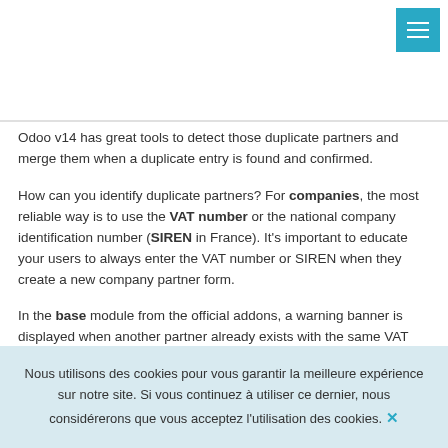[Figure (screenshot): Blue menu button with three horizontal white lines (hamburger icon) in the top right corner]
Odoo v14 has great tools to detect those duplicate partners and merge them when a duplicate entry is found and confirmed.
How can you identify duplicate partners? For companies, the most reliable way is to use the VAT number or the national company identification number (SIREN in France). It's important to educate your users to always enter the VAT number or SIREN when they create a new company partner form.
In the base module from the official addons, a warning banner is displayed when another partner already exists with the same VAT number:
By default, this yellow warning banner is only displayed when you are in Edit mode. If you use Akretion's base_usability module, the warning
Nous utilisons des cookies pour vous garantir la meilleure expérience sur notre site. Si vous continuez à utiliser ce dernier, nous considérerons que vous acceptez l'utilisation des cookies. ✕